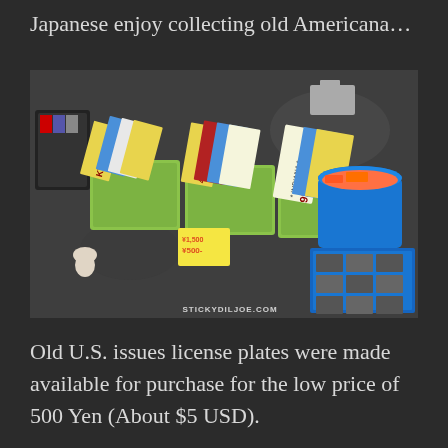Japanese enjoy collecting old Americana…
[Figure (photo): Photograph of baskets filled with old American license plates laid out on asphalt at what appears to be a Japanese flea market. Several green plastic bins contain stacked colorful license plates including Indiana plates and others. A price tag shows ¥500. Other items like toy cars and orange items in a blue bucket are visible. Watermark reads STICKYDILJOE.COM]
Old U.S. issues license plates were made available for purchase for the low price of 500 Yen (About $5 USD).